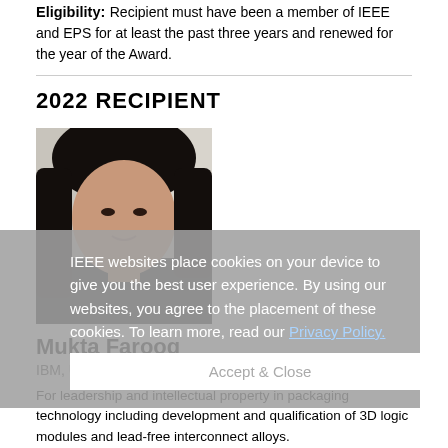Eligibility: Recipient must have been a member of IEEE and EPS for at least the past three years and renewed for the year of the Award.
2022 RECIPIENT
[Figure (photo): Portrait photo of Mukta Farooq, a woman with long dark hair, wearing dark clothing, against a light background.]
Mukta Farooq
IBM, USA
For leadership and intellectual property in packaging technology including development and qualification of 3D logic modules and lead-free interconnect alloys.
IEEE websites place cookies on your device to give you the best user experience. By using our websites, you agree to the placement of these cookies. To learn more, read our Privacy Policy.